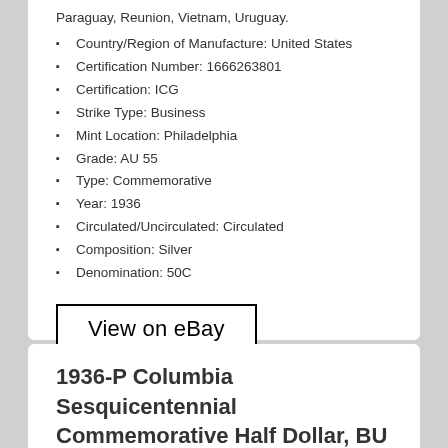Paraguay, Reunion, Vietnam, Uruguay.
Country/Region of Manufacture: United States
Certification Number: 1666263801
Certification: ICG
Strike Type: Business
Mint Location: Philadelphia
Grade: AU 55
Type: Commemorative
Year: 1936
Circulated/Uncirculated: Circulated
Composition: Silver
Denomination: 50C
View on eBay
1936-P Columbia Sesquicentennial Commemorative Half Dollar, BU